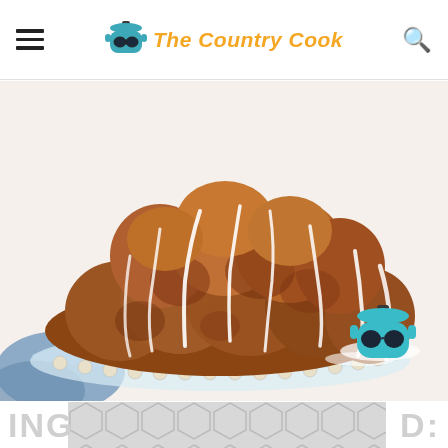The Country Cook
[Figure (photo): Monkey bread with white icing drizzle on a glass beaded cake stand, photographed from above at an angle on a white surface with a blue cloth napkin visible in the lower left corner. A small pot logo watermark appears in the lower right.]
INGREDIENTS: